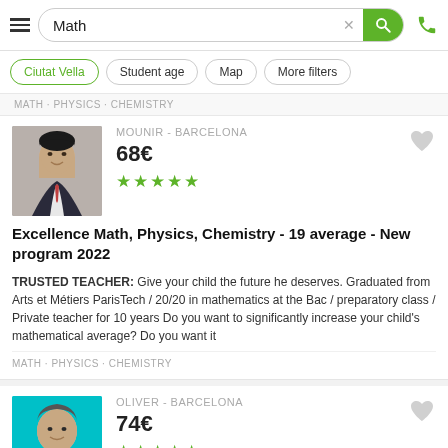Math
Ciutat Vella
Student age
Map
More filters
MATH · PHYSICS · CHEMISTRY
MOUNIR - BARCELONA
68€
★★★★★
Excellence Math, Physics, Chemistry - 19 average - New program 2022
TRUSTED TEACHER: Give your child the future he deserves. Graduated from Arts et Métiers ParisTech / 20/20 in mathematics at the Bac / preparatory class / Private teacher for 10 years Do you want to significantly increase your child's mathematical average? Do you want it
MATH · PHYSICS · CHEMISTRY
OLIVER - BARCELONA
74€
★★★★★